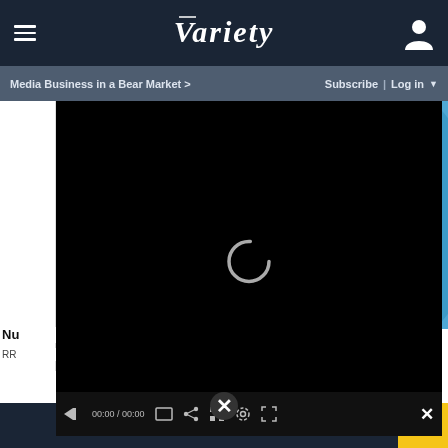Variety
Media Business in a Bear Market >
Subscribe | Log in ▼
[Figure (photo): Screenshot of Variety website showing a photo of women on the Good Morning America set, with a video player overlay loading (black screen with spinner), and a media controls bar at the bottom. An advertisement bar reading 'ON SALE AT AMAZON' appears at the bottom.]
Nu
RR